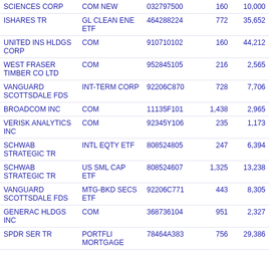| Name | Type | CUSIP | Shares | Value |
| --- | --- | --- | --- | --- |
| SCIENCES CORP | COM NEW | 032797500 | 160 | 10,000 |
| ISHARES TR | GL CLEAN ENE ETF | 464288224 | 772 | 35,652 |
| UNITED INS HLDGS CORP | COM | 910710102 | 160 | 44,212 |
| WEST FRASER TIMBER CO LTD | COM | 952845105 | 216 | 2,565 |
| VANGUARD SCOTTSDALE FDS | INT-TERM CORP | 92206C870 | 728 | 7,706 |
| BROADCOM INC | COM | 11135F101 | 1,438 | 2,965 |
| VERISK ANALYTICS INC | COM | 92345Y106 | 235 | 1,173 |
| SCHWAB STRATEGIC TR | INTL EQTY ETF | 808524805 | 247 | 6,394 |
| SCHWAB STRATEGIC TR | US SML CAP ETF | 808524607 | 1,325 | 13,238 |
| VANGUARD SCOTTSDALE FDS | MTG-BKD SECS ETF | 92206C771 | 443 | 8,305 |
| GENERAC HLDGS INC | COM | 368736104 | 951 | 2,327 |
| SPDR SER TR | PORTFLI MORTGAGE | 78464A383 | 756 | 29,386 |